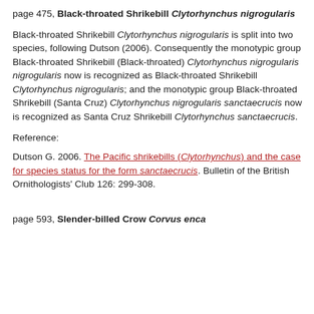page 475, Black-throated Shrikebill Clytorhynchus nigrogularis
Black-throated Shrikebill Clytorhynchus nigrogularis is split into two species, following Dutson (2006). Consequently the monotypic group Black-throated Shrikebill (Black-throated) Clytorhynchus nigrogularis nigrogularis now is recognized as Black-throated Shrikebill Clytorhynchus nigrogularis; and the monotypic group Black-throated Shrikebill (Santa Cruz) Clytorhynchus nigrogularis sanctaecrucis now is recognized as Santa Cruz Shrikebill Clytorhynchus sanctaecrucis.
Reference:
Dutson G. 2006. The Pacific shrikebills (Clytorhynchus) and the case for species status for the form sanctaecrucis. Bulletin of the British Ornithologists' Club 126: 299-308.
page 593, Slender-billed Crow Corvus enca